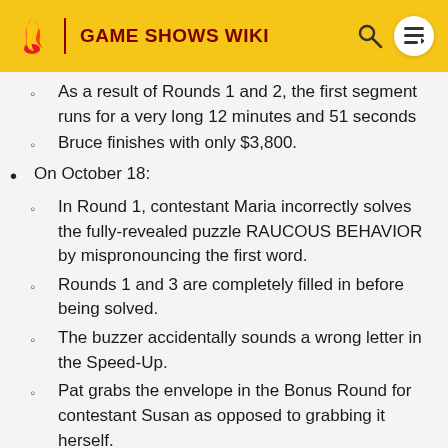GAME SHOWS WIKI
As a result of Rounds 1 and 2, the first segment runs for a very long 12 minutes and 51 seconds
Bruce finishes with only $3,800.
On October 18:
In Round 1, contestant Maria incorrectly solves the fully-revealed puzzle RAUCOUS BEHAVIOR by mispronouncing the first word.
Rounds 1 and 3 are completely filled in before being solved.
The buzzer accidentally sounds a wrong letter in the Speed-Up.
Pat grabs the envelope in the Bonus Round for contestant Susan as opposed to grabbing it herself.
The Bonus Round prize was a $50,000...